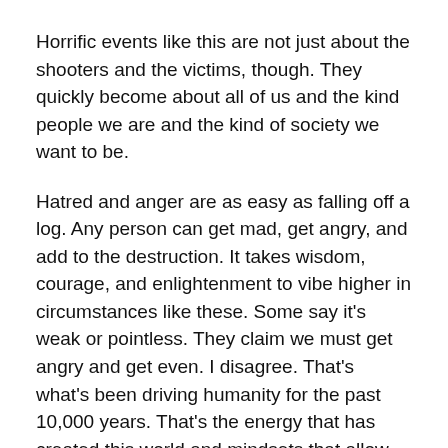Horrific events like this are not just about the shooters and the victims, though. They quickly become about all of us and the kind people we are and the kind of society we want to be.
Hatred and anger are as easy as falling off a log. Any person can get mad, get angry, and add to the destruction. It takes wisdom, courage, and enlightenment to vibe higher in circumstances like these. Some say it's weak or pointless. They claim we must get angry and get even. I disagree. That's what's been driving humanity for the past 10,000 years. That's the energy that has created this world and mindsets that allow someone to walk into place with other human beings and start shooting them. If we want change, we must be the ones – you and me – to say no more! We must be the ones to change the vibration in our lives, in our communities, online, and